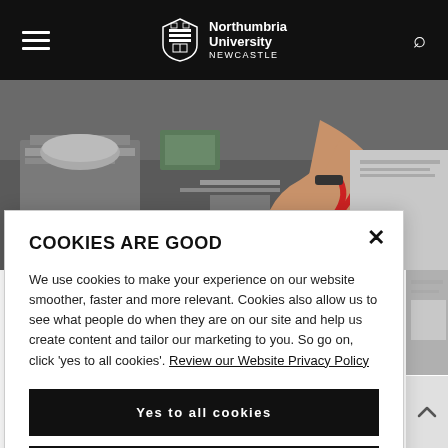Northumbria University NEWCASTLE
[Figure (photo): Person working at a cluttered desk with craft materials, scissors with red handles visible, books and supplies scattered around]
COOKIES ARE GOOD
We use cookies to make your experience on our website smoother, faster and more relevant. Cookies also allow us to see what people do when they are on our site and help us create content and tailor our marketing to you. So go on, click 'yes to all cookies'. Review our Website Privacy Policy
Yes to all cookies